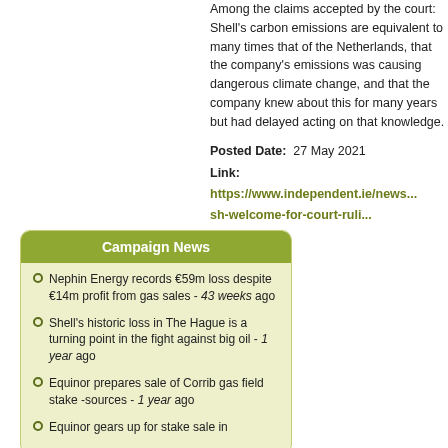Among the claims accepted by the court: Shell's carbon emissions are equivalent to many times that of the Netherlands, that the company's emissions was causing dangerous climate change, and that the company knew about this for many years but had delayed acting on that knowledge.
Posted Date: 27 May 2021
Link:
https://www.independent.ie/news...sh-welcome-for-court-ruli...
Campaign News
Nephin Energy records €59m loss despite €14m profit from gas sales - 43 weeks ago
Shell's historic loss in The Hague is a turning point in the fight against big oil - 1 year ago
Equinor prepares sale of Corrib gas field stake -sources - 1 year ago
Equinor gears up for stake sale in...